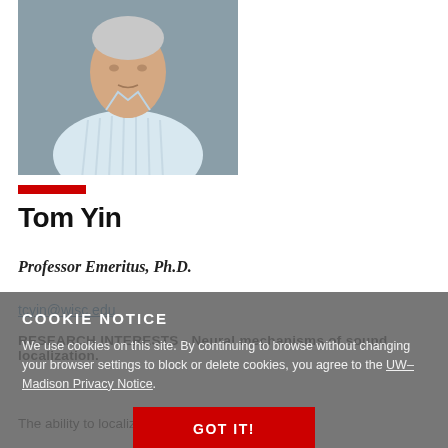[Figure (photo): Headshot photo of Tom Yin, an older male professor wearing a light striped shirt, with a gray background.]
Tom Yin
Professor Emeritus, Ph.D.
tcyin@wisc.edu
RESEARCH INTERESTS - Neural mechanisms of sound localization.
The ability to localize the source of a sound is an
COOKIE NOTICE
We use cookies on this site. By continuing to browse without changing your browser settings to block or delete cookies, you agree to the UW–Madison Privacy Notice.
GOT IT!